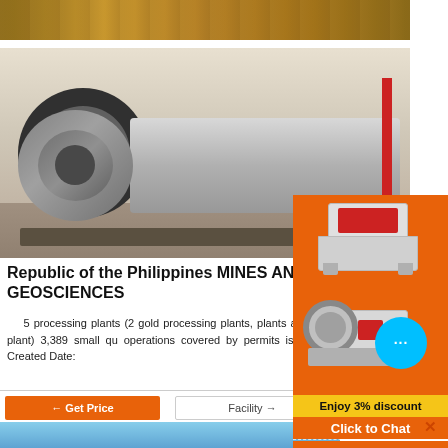[Figure (photo): Top strip showing heavy mining equipment / bulldozer in yellowish-brown tones]
[Figure (photo): Large industrial ball mill (cylindrical grinding machine with gear ring) in a factory/warehouse setting]
Republic of the Philippines MINES AND GEOSCIENCES
5 processing plants (2 gold processing plants, plants and 1 copper smelter plant) 3,389 small qu operations covered by permits issued by LGUs. Vea Created Date:
[Figure (photo): Bottom portion showing yellow/blue sky with mining equipment]
[Figure (illustration): Orange advertisement panel showing mining/crushing machinery illustrations and a chat bubble icon]
Enjoy 3% discount
Click to Chat
Enquiry